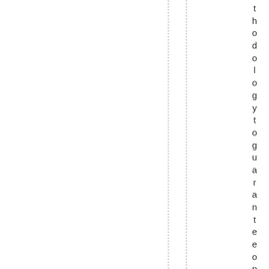thodologytoguaranteeoptimalper